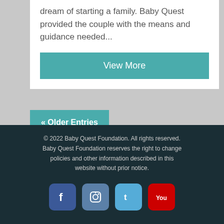dream of starting a family. Baby Quest provided the couple with the means and guidance needed...
View More
« Older Entries
© 2022 Baby Quest Foundation. All rights reserved. Baby Quest Foundation reserves the right to change policies and other information described in this website without prior notice.
[Figure (logo): Social media icons: Facebook, Instagram, Twitter, YouTube]